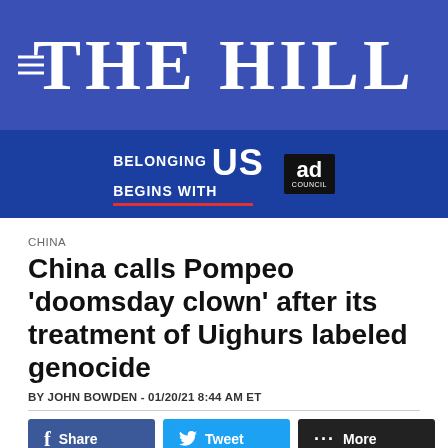THE HILL
[Figure (infographic): Ad banner: BELONGING BEGINS WITH US — Ad Council]
CHINA
China calls Pompeo 'doomsday clown' after its treatment of Uighurs labeled genocide
BY JOHN BOWDEN - 01/20/21 8:44 AM ET
[Figure (infographic): Social share buttons: Facebook Share, Twitter Tweet, More]
[Figure (photo): Photo of person, with overlay ad: D-Link - A complete, expandable, and easy-to-use... ter detection kit. OPEN button.]